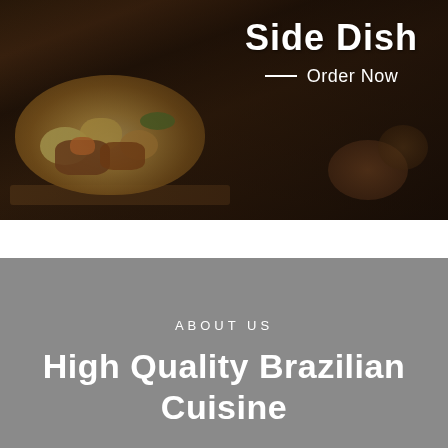[Figure (photo): Food photography showing a bowl of stew or side dish with vegetables and meat on a wooden surface, with text overlay 'Side Dish' and 'Order Now']
ABOUT US
High Quality Brazilian Cuisine